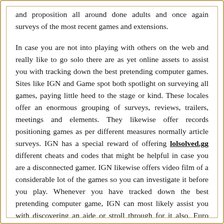and proposition all around done adults and once again surveys of the most recent games and extensions.
In case you are not into playing with others on the web and really like to go solo there are as yet online assets to assist you with tracking down the best pretending computer games. Sites like IGN and Game spot both spotlight on surveying all games, paying little heed to the stage or kind. These locales offer an enormous grouping of surveys, reviews, trailers, meetings and elements. They likewise offer records positioning games as per different measures normally article surveys. IGN has a special reward of offering lolsolved.gg different cheats and codes that might be helpful in case you are a disconnected gamer. IGN likewise offers video film of a considerable lot of the games so you can investigate it before you play. Whenever you have tracked down the best pretending computer game, IGN can most likely assist you with discovering an aide or stroll through for it also. Euro gamers likewise sorts games by stage and classification. They likewise offer peruse surveys of a